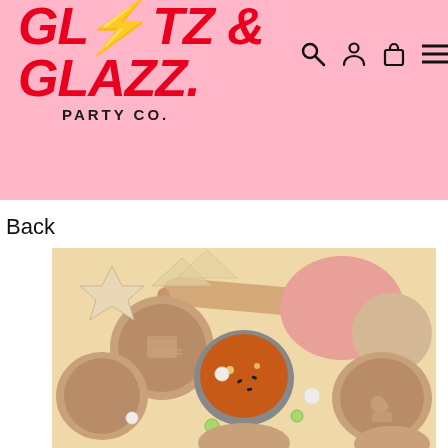GLITZ & GLAZZ. PARTY CO.
Back
[Figure (photo): Overhead view of party cookie stamp kit on a cream background with pink and beige play dough discs, a wooden rolling pin, cookie stamps showing birthday cake, balloon dog, cupcake, candy designs, pearl beads, and a bowl with orange dough sprinkled with black seeds]